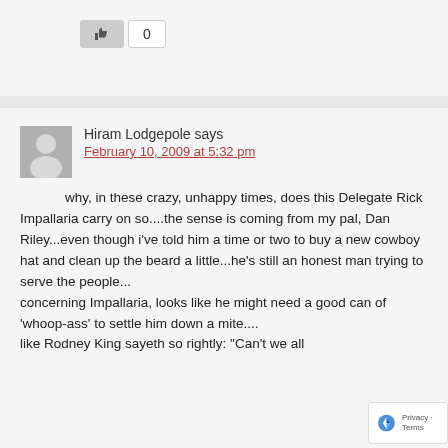[Figure (other): Like button with thumbs up icon and count of 0]
Hiram Lodgepole says
February 10, 2009 at 5:32 pm
why, in these crazy, unhappy times, does this Delegate Rick Impallaria carry on so....the sense is coming from my pal, Dan Riley...even though i've told him a time or two to buy a new cowboy hat and clean up the beard a little...he's still an honest man trying to serve the people...
concerning Impallaria, looks like he might need a good can of 'whoop-ass' to settle him down a mite....
like Rodney King sayeth so rightly: "Can't we all